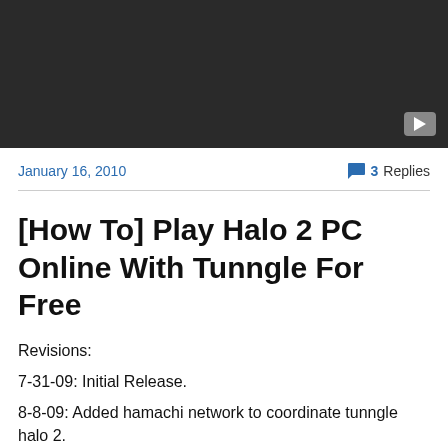[Figure (screenshot): Dark video thumbnail with a play button in the bottom-right corner]
January 16, 2010
3 Replies
[How To] Play Halo 2 PC Online With Tunngle For Free
Revisions:
7-31-09: Initial Release.
8-8-09: Added hamachi network to coordinate tunngle halo 2.